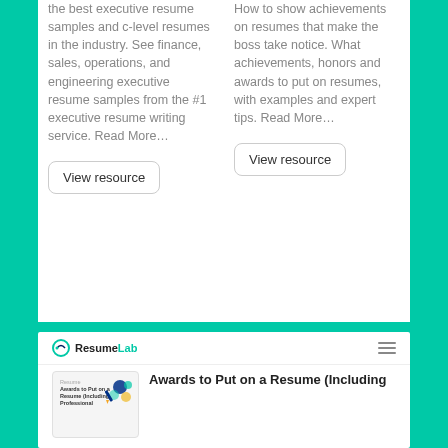the best executive resume samples and c-level resumes in the industry. See finance, sales, operations, and engineering executive resume samples from the #1 executive resume writing service. Read More…
View resource
How to show achievements on resumes that make the boss take notice. What achievements, honors and awards to put on resumes, with examples and expert tips. Read More…
View resource
[Figure (screenshot): Screenshot of ResumeLab website showing navigation bar with ResumeLab logo and hamburger menu icon]
Awards to Put on a Resume (Including